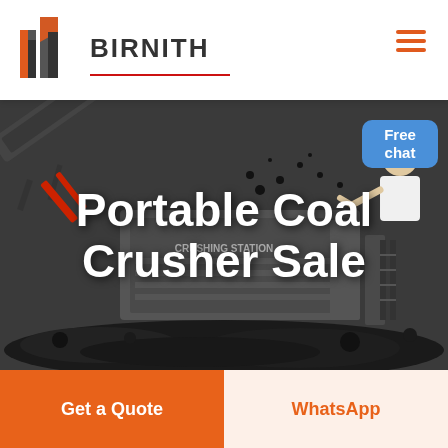[Figure (logo): Birnith company logo with orange and dark building icon and brand name BIRNITH]
[Figure (photo): Industrial portable coal crusher machine at a crushing station with coal piles on the ground and a worker visible on the right. Dark industrial background.]
Portable Coal Crusher Sale
Free chat
Get a Quote
WhatsApp